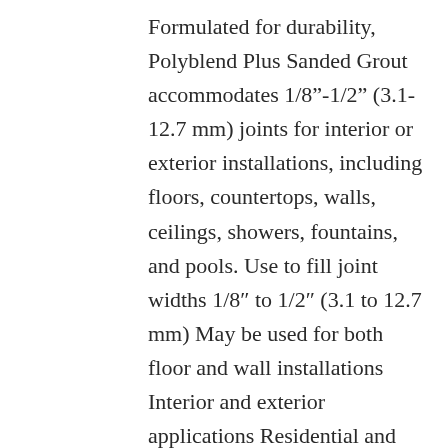Formulated for durability, Polyblend Plus Sanded Grout accommodates 1/8"-1/2" (3.1-12.7 mm) joints for interior or exterior installations, including floors, countertops, walls, ceilings, showers, fountains, and pools. Use to fill joint widths 1/8″ to 1/2″ (3.1 to 12.7 mm) May be used for both floor and wall installations Interior and exterior applications Residential and commercial applications Countertops, tub surrounds, showers and high traffic areas Submerged conditions (swimming pools, spas, water features and fountains) Suitable Tile Types Vitreous, semi-vitreous or non-vitreous tile: ceramic, mosaic, quarry, cement body tiles